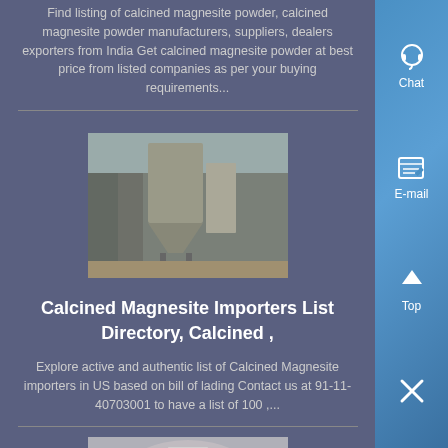Find listing of calcined magnesite powder, calcined magnesite powder manufacturers, suppliers, dealers exporters from India Get calcined magnesite powder at best price from listed companies as per your buying requirements...
[Figure (photo): Industrial warehouse or processing facility interior showing equipment, possibly a magnesite processing plant]
Calcined Magnesite Importers List Directory, Calcined ,
Explore active and authentic list of Calcined Magnesite importers in US based on bill of lading Contact us at 91-11-40703001 to have a list of 100 ,...
[Figure (photo): Industrial machinery, possibly a cone crusher or grinding machine in a warehouse setting]